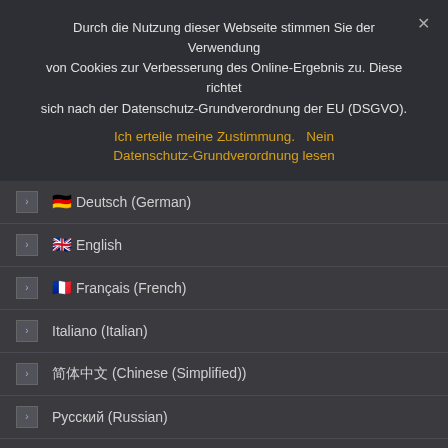Durch die Nutzung dieser Webseite stimmen Sie der Verwendung von Cookies zur Verbesserung des Online-Ergebnis zu. Diese richtet sich nach der Datenschutz-Grundverordnung der EU (DSGVO).
Ich erteile meine Zustimmung.    Nein
Datenschutz-Grundverordnung lesen
Deutsch (German)
English
Français (French)
Italiano (Italian)
简体中文 (Chinese (Simplified))
Русский (Russian)
Español (Spanish)
العربية (Arabic)